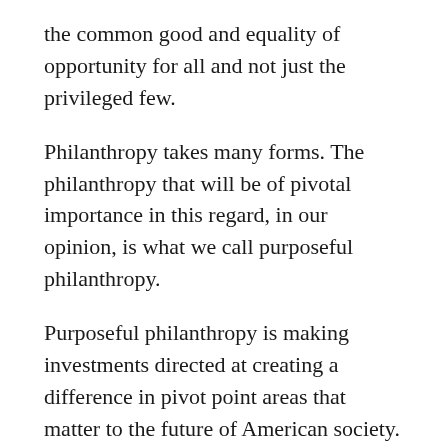the common good and equality of opportunity for all and not just the privileged few.
Philanthropy takes many forms. The philanthropy that will be of pivotal importance in this regard, in our opinion, is what we call purposeful philanthropy.
Purposeful philanthropy is making investments directed at creating a difference in pivot point areas that matter to the future of American society. The returns on those investments are changes to problematic conditions and/or the creation of individuals who will become change agents to address those conditions.
There is a distinction between purposeful philanthropy and charity. The focus in charity is to